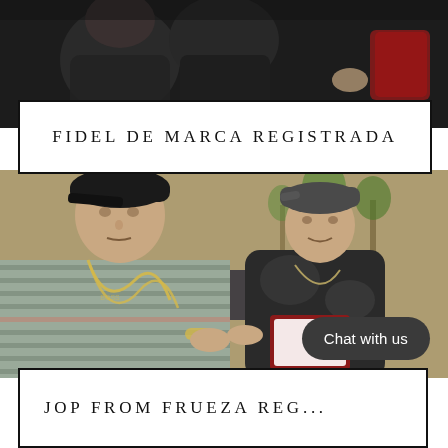[Figure (photo): Top portion showing people in dark clothing, partial view]
FIDEL DE MARCA REGISTRADA
[Figure (photo): Two young men outdoors near cars and palm trees; left person wearing striped shirt, black cap, gold chain; right person in dark tie-dye shirt, backwards cap, holding an open jewelry box]
Chat with us
JOP FROM FRUEZA REG...